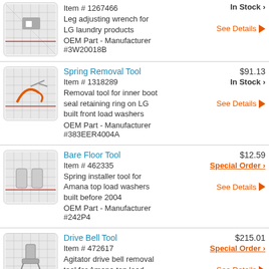Item # 1267466 Leg adjusting wrench for LG laundry products OEM Part - Manufacturer #3W20018B | In Stock | See Details
Spring Removal Tool | $91.13 | Item # 1318289 | Removal tool for inner boot seal retaining ring on LG built front load washers | OEM Part - Manufacturer #383EER4004A | In Stock | See Details
Bare Floor Tool | $12.59 | Item # 462335 | Spring installer tool for Amana top load washers built before 2004 | OEM Part - Manufacturer #242P4 | Special Order | See Details
Drive Bell Tool | $215.01 | Item # 472617 | Agitator drive bell removal tool for Amana top load washers built before 2004 | OEM Part - Manufacturer | Special Order | See Details